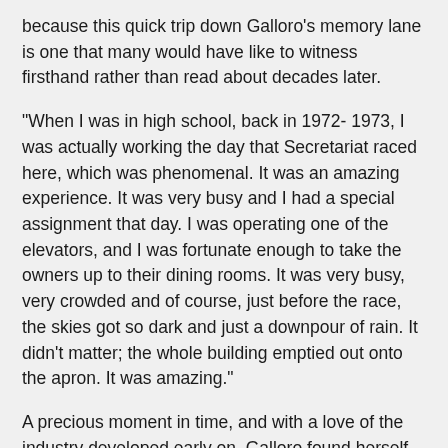because this quick trip down Galloro’s memory lane is one that many would have like to witness firsthand rather than read about decades later.
“When I was in high school, back in 1972-1973, I was actually working the day that Secretariat raced here, which was phenomenal. It was an amazing experience. It was very busy and I had a special assignment that day. I was operating one of the elevators, and I was fortunate enough to take the owners up to their dining rooms. It was very busy, very crowded and of course, just before the race, the skies got so dark and just a downpour of rain. It didn’t matter; the whole building emptied out onto the apron. It was amazing.”
A precious moment in time, and with a love of the industry developed early on, Galloro found herself back at the track in the early 90s. She remembers those days all too well.